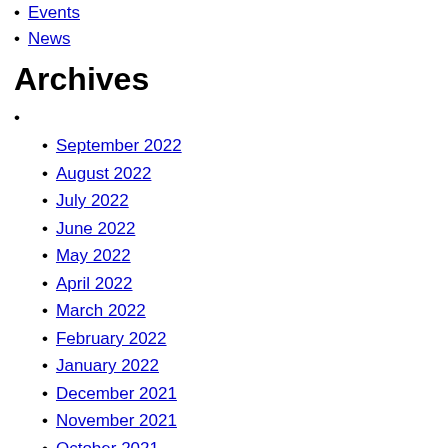Events
News
Archives
September 2022
August 2022
July 2022
June 2022
May 2022
April 2022
March 2022
February 2022
January 2022
December 2021
November 2021
October 2021
September 2021
August 2021
July 2021
June 2021
May 2021
April 2021